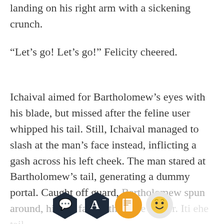landing on his right arm with a sickening crunch.
“Let’s go! Let’s go!” Felicity cheered.
Ichaival aimed for Bartholomew’s eyes with his blade, but missed after the feline user whipped his tail. Still, Ichaival managed to slash at the man’s face instead, inflicting a gash across his left cheek. The man stared at Bartholomew’s tail, generating a dummy portal. Caught off guard, Bartholomew spun around, his tail facing the false archer. Ichaival... the tail
[Figure (screenshot): App toolbar overlay with four icons: comment bubble (dark navy hexagon), font size A with minus (dark navy hexagon), book icon (orange circle), and happy face emoji icon (light circle)]